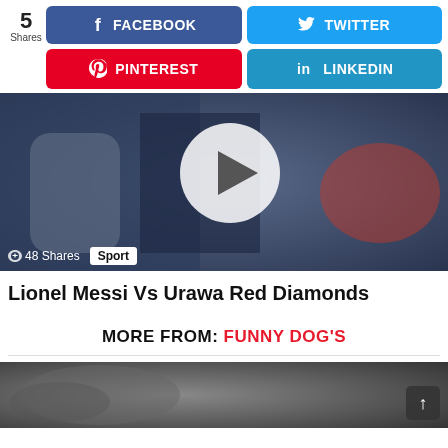5 Shares
[Figure (infographic): Social share buttons: Facebook (blue), Twitter (cyan), Pinterest (red), LinkedIn (blue)]
[Figure (photo): Video thumbnail of Lionel Messi in PSG kit with play button overlay. Shows 48 Shares and Sport tag at bottom.]
Lionel Messi Vs Urawa Red Diamonds
MORE FROM: FUNNY DOG'S
[Figure (photo): Bottom partial image showing a dog or animal in a car, with a back-to-top arrow button in bottom right corner.]